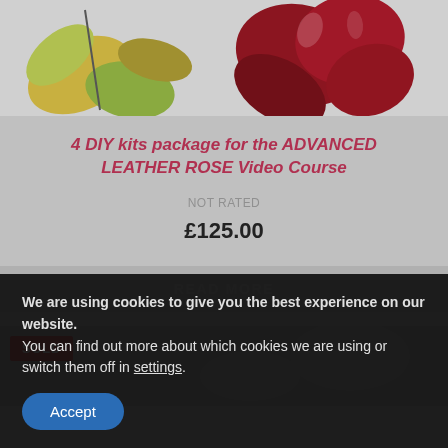[Figure (photo): Product image showing leather rose DIY kit pieces — green and yellow leaf shapes on left, red rose petals on right, on a white background with a needle/tool visible]
4 DIY kits package for the ADVANCED LEATHER ROSE Video Course
NOT RATED
£125.00
READ MORE
[Figure (photo): Partially visible product image with SOLD badge in red]
We are using cookies to give you the best experience on our website.
You can find out more about which cookies we are using or switch them off in settings.
Accept